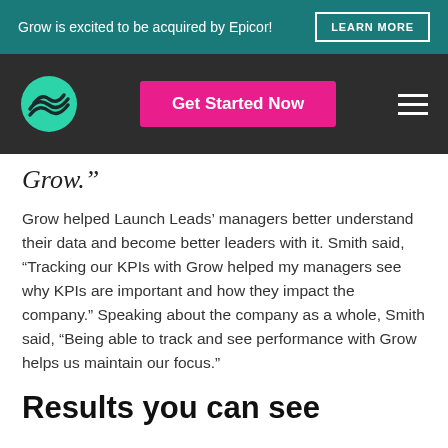Grow is excited to be acquired by Epicor! LEARN MORE
[Figure (logo): Grow logo — teal circle with wave lines; pink Get Started Now button; hamburger menu icon on dark nav bar]
Grow.”
Grow helped Launch Leads’ managers better understand their data and become better leaders with it. Smith said, “Tracking our KPIs with Grow helped my managers see why KPIs are important and how they impact the company.” Speaking about the company as a whole, Smith said, “Being able to track and see performance with Grow helps us maintain our focus.”
Results you can see